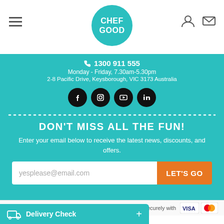[Figure (logo): Chef Good logo - teal circle with white CHEF GOOD text]
1300 911 555
Monday - Friday, 7.30am-5.30pm
2-8 Pacific Drive, Keysborough, VIC 3173 Australia
[Figure (illustration): Social media icons: Facebook, Instagram, YouTube, LinkedIn - white icons on black circles]
DON'T MISS ALL THE FUN!
Enter your email below to receive the latest news, discounts, and offers.
yesplease@email.com
LET'S GO
© Chefgood
Shop securely with
Delivery Check +